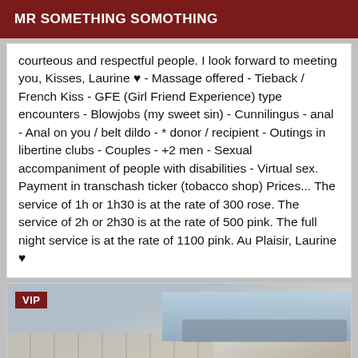MR SOMETHING SOMOTHING
courteous and respectful people. I look forward to meeting you, Kisses, Laurine ♥ - Massage offered - Tieback / French Kiss - GFE (Girl Friend Experience) type encounters - Blowjobs (my sweet sin) - Cunnilingus - anal - Anal on you / belt dildo - * donor / recipient - Outings in libertine clubs - Couples - +2 men - Sexual accompaniment of people with disabilities - Virtual sex. Payment in transchash ticker (tobacco shop) Prices... The service of 1h or 1h30 is at the rate of 300 rose. The service of 2h or 2h30 is at the rate of 500 pink. The full night service is at the rate of 1100 pink. Au Plaisir, Laurine ♥
[Figure (photo): VIP tagged photo showing what appears to be a tiled floor and wall/door area, partially visible, with a VIP badge in the top-left corner.]